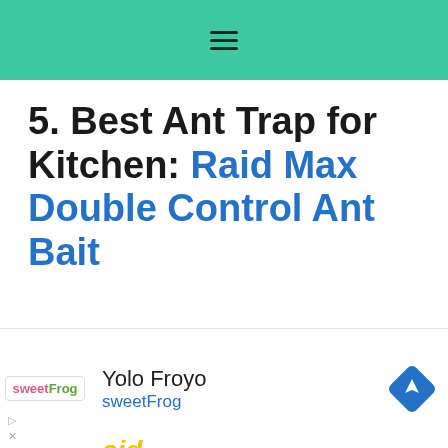5. Best Ant Trap for Kitchen: Raid Max Double Control Ant Bait
[Figure (photo): Product photo of Raid Max Double Control Ant Bait 8 Count Value Pack box, partially visible at bottom of content area]
[Figure (infographic): Advertisement bar at bottom showing sweetFrog logo, 'Yolo Froyo', 'sweetFrog' text in blue, and a navigation/map icon on the right]